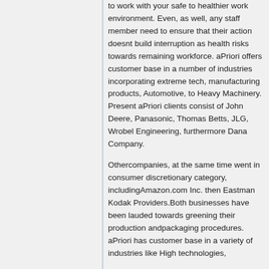to work with your safe to healthier work environment. Even, as well, any staff member need to ensure that their action doesnt build interruption as health risks towards remaining workforce. aPriori offers customer base in a number of industries incorporating extreme tech, manufacturing products, Automotive, to Heavy Machinery. Present aPriori clients consist of John Deere, Panasonic, Thomas Betts, JLG, Wrobel Engineering, furthermore Dana Company.
Othercompanies, at the same time went in consumer discretionary category, includingAmazon.com Inc. then Eastman Kodak Providers.Both businesses have been lauded towards greening their production andpackaging procedures. aPriori has customer base in a variety of industries like High technologies,